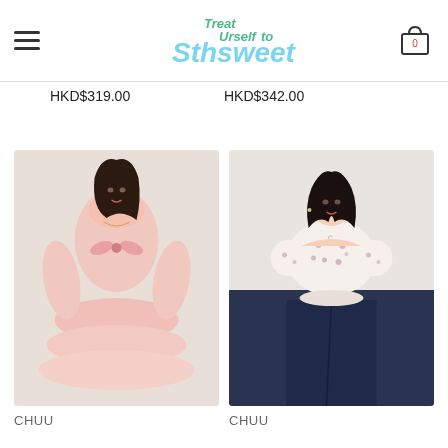Treat Yourself to Sthsweet — navigation header with hamburger menu and cart icon showing 0
HKD$319.00
HKD$342.00
[Figure (photo): Model wearing a pink off-shoulder long-sleeve dress with bow tie at chest and tiered ruffle skirt]
[Figure (photo): Model wearing a white floral off-shoulder puff-sleeve crop top with pearl necklace, paired with dark jeans]
CHUU
CHUU